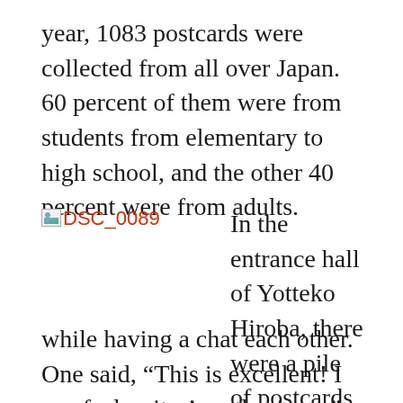year, 1083 postcards were collected from all over Japan. 60 percent of them were from students from elementary to high school, and the other 40 percent were from adults.
[Figure (photo): Broken image placeholder labeled DSC_0089 in red/orange text]
In the entrance hall of Yotteko Hiroba, there were a pile of postcards on tables. And the examiners read the postcards very carefully while having a chat each other. One said, “This is excellent! I can feel writer’s enthusiasm.”, and the other said “Such a lot of entries of local